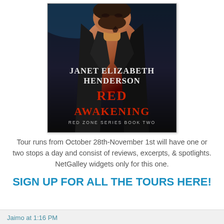[Figure (illustration): Book cover for 'Red Awakening' by Janet Elizabeth Henderson. Red Zone Series Book Two. Shows a dark-haired man with a tattoo on his neck against a dark blue background. Author name in white text, title in red text.]
Tour runs from October 28th-November 1st will have one or two stops a day and consist of reviews, excerpts, & spotlights. NetGalley widgets only for this one.
SIGN UP FOR ALL THE TOURS HERE!
Jaimo at 1:16 PM